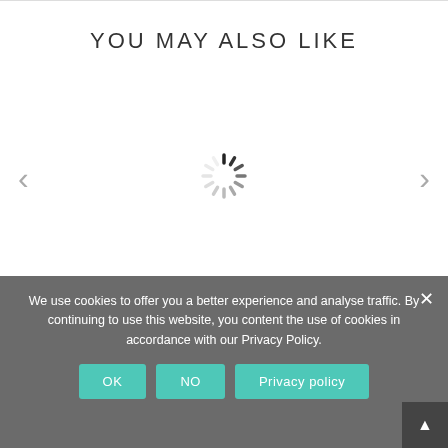YOU MAY ALSO LIKE
[Figure (other): Loading spinner (circular spinner animation) centered in carousel area, with left and right navigation arrows on either side]
We use cookies to offer you a better experience and analyse traffic. By continuing to use this website, you content the use of cookies in accordance with our Privacy Policy.
OK  NO  Privacy policy